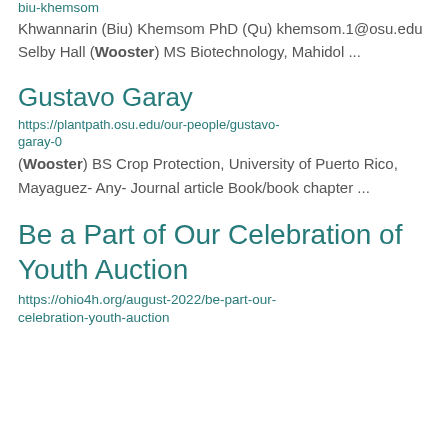biu-khemsom
Khwannarin (Biu) Khemsom PhD (Qu) khemsom.1@osu.edu Selby Hall (Wooster) MS Biotechnology, Mahidol ...
Gustavo Garay
https://plantpath.osu.edu/our-people/gustavo-garay-0
(Wooster) BS Crop Protection, University of Puerto Rico, Mayaguez- Any- Journal article Book/book chapter ...
Be a Part of Our Celebration of Youth Auction
https://ohio4h.org/august-2022/be-part-our-celebration-youth-auction